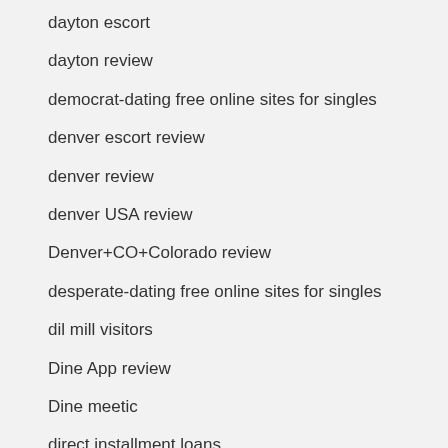dayton escort
dayton review
democrat-dating free online sites for singles
denver escort review
denver review
denver USA review
Denver+CO+Colorado review
desperate-dating free online sites for singles
dil mill visitors
Dine App review
Dine meetic
direct installment loans